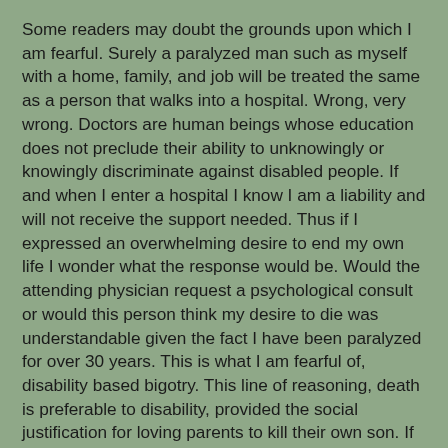Some readers may doubt the grounds upon which I am fearful. Surely a paralyzed man such as myself with a home, family, and job will be treated the same as a person that walks into a hospital. Wrong, very wrong. Doctors are human beings whose education does not preclude their ability to unknowingly or knowingly discriminate against disabled people. If and when I enter a hospital I know I am a liability and will not receive the support needed. Thus if I expressed an overwhelming desire to end my own life I wonder what the response would be. Would the attending physician request a psychological consult or would this person think my desire to die was understandable given the fact I have been paralyzed for over 30 years. This is what I am fearful of, disability based bigotry. This line of reasoning, death is preferable to disability, provided the social justification for loving parents to kill their own son. If parents can rationalize killing a child, I shudder to think what society has in store for me.
Proponents of assisted suicide are quick to point out that people who are suffering from fatal diseases should have the right to end their own life. Why should a person and a family